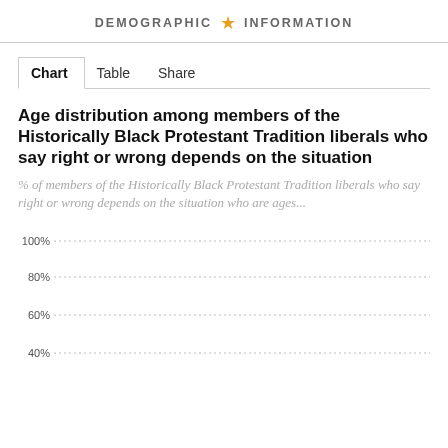DEMOGRAPHIC ★ INFORMATION
Chart  Table  Share
Age distribution among members of the Historically Black Protestant Tradition liberals who say right or wrong depends on the situation
% of members of the Historically Black Protestant Tradition liberals who say right or wrong depends on the situation who are ages...
[Figure (bar-chart): Bar chart partially visible; y-axis gridlines shown at 100%, 80%, 60%, 40%. Bars not visible in this crop.]